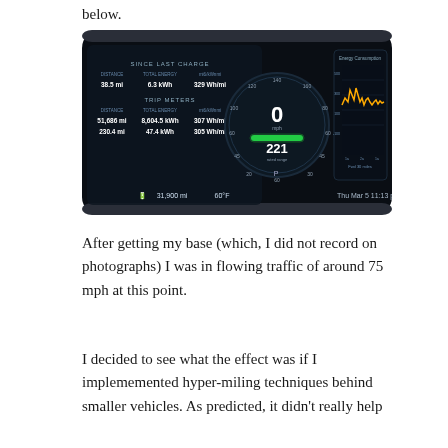below.
[Figure (photo): Tesla Model S dashboard display showing speedometer reading 0 mph, rated range of 221 miles, trip meters, energy consumption graph, and vehicle stats. Date shows Thu Mar 5, 11:13 pm. Odometer shows 31,900 mi, 60°F.]
After getting my base (which, I did not record on photographs) I was in flowing traffic of around 75 mph at this point.
I decided to see what the effect was if I implememented hyper-miling techniques behind smaller vehicles. As predicted, it didn't really help